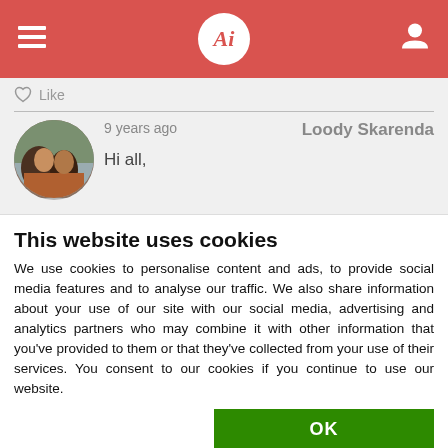Ai — navigation header with hamburger menu and user icon
Like
9 years ago   Loody Skarenda
[Figure (photo): Circular avatar photo of a person on a motorbike]
Hi all,
This website uses cookies
We use cookies to personalise content and ads, to provide social media features and to analyse our traffic. We also share information about your use of our site with our social media, advertising and analytics partners who may combine it with other information that you've provided to them or that they've collected from your use of their services. You consent to our cookies if you continue to use our website.
OK
Necessary   Preferences   Statistics   Marketing   Show details